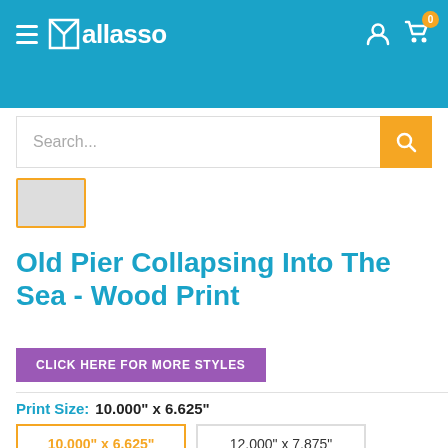Wallasso - The Wall Art Superstore
Old Pier Collapsing Into The Sea - Wood Print
CLICK HERE FOR MORE STYLES
Print Size:  10.000" x 6.625"
| 10.000" x 6.625" | 12.000" x 7.875" |